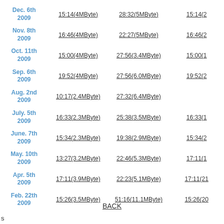| Date | Col1 | Col2 | Col3 |
| --- | --- | --- | --- |
| Dec. 6th 2009 | 15:14(4MByte) | 28:32(5MByte) | 15:14(2... |
| Nov. 8th 2009 | 16:46(4MByte) | 22:27(5MByte) | 16:46(2... |
| Oct. 11th 2009 | 15:00(4MByte) | 27:56(3.4MByte) | 15:00(1... |
| Sep. 6th 2009 | 19:52(4MByte) | 27:56(6.0MByte) | 19:52(2... |
| Aug. 2nd 2009 | 10:17(2.4MByte) | 27:32(6.4MByte) |  |
| July. 5th 2009 | 16:33(2.3MByte) | 25:38(3.5MByte) | 16:33(1... |
| June. 7th 2009 | 15:34(2.3MByte) | 19:38(2.9MByte) | 15:34(2... |
| May. 10th 2009 | 13:27(3.2MByte) | 22:46(5.3MByte) | 17:11(1... |
| Apr. 5th 2009 | 17:11(3.9MByte) | 22:23(5.1MByte) | 17:11(21... |
| Feb. 22th 2009 | 15:26(3.5MByte) | 51:16(11.1MByte) | 15:26(20... |
BACK
s